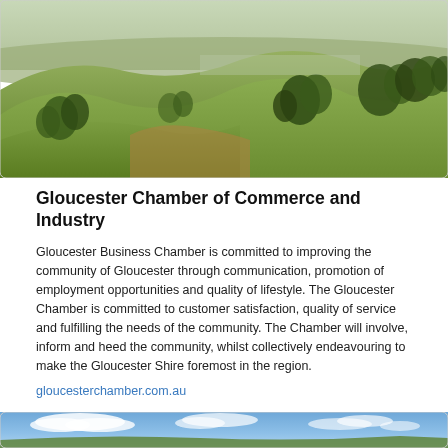[Figure (photo): Aerial/landscape photo of rolling green hills with scattered trees, farmland and distant town under hazy sky — Gloucester region, Australia]
Gloucester Chamber of Commerce and Industry
Gloucester Business Chamber is committed to improving the community of Gloucester through communication, promotion of employment opportunities and quality of lifestyle. The Gloucester Chamber is committed to customer satisfaction, quality of service and fulfilling the needs of the community. The Chamber will involve, inform and heed the community, whilst collectively endeavouring to make the Gloucester Shire foremost in the region.
gloucesterchamber.com.au
[Figure (photo): Landscape photo showing wide blue sky with white clouds over green hills/countryside near Gloucester, Australia]